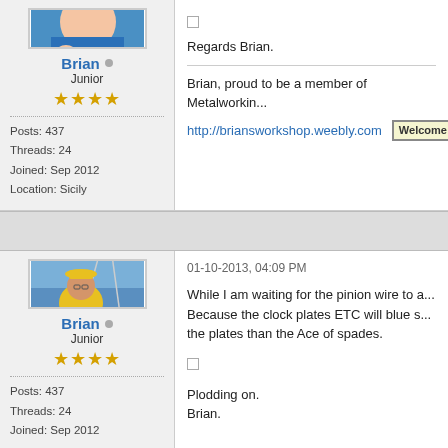[Figure (photo): Avatar photo of person in blue clothing, top portion cropped]
Brian (online indicator) Junior ★★★★
Posts: 437
Threads: 24
Joined: Sep 2012
Location: Sicily
Regards Brian.
Brian, proud to be a member of Metalworkin...
http://briansworkshop.weebly.com
[Figure (photo): Avatar photo of person in yellow hat and yellow shirt on a boat]
Brian (online indicator) Junior ★★★★
Posts: 437
Threads: 24
Joined: Sep 2012
01-10-2013, 04:09 PM
While I am waiting for the pinion wire to a... Because the clock plates ETC will blue s... the plates than the Ace of spades.
Plodding on.
Brian.